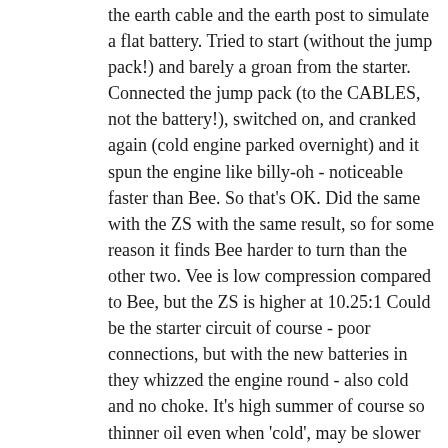the earth cable and the earth post to simulate a flat battery. Tried to start (without the jump pack!) and barely a groan from the starter. Connected the jump pack (to the CABLES, not the battery!), switched on, and cranked again (cold engine parked overnight) and it spun the engine like billy-oh - noticeable faster than Bee. So that's OK. Did the same with the ZS with the same result, so for some reason it finds Bee harder to turn than the other two. Vee is low compression compared to Bee, but the ZS is higher at 10.25:1 Could be the starter circuit of course - poor connections, but with the new batteries in they whizzed the engine round - also cold and no choke. It's high summer of course so thinner oil even when 'cold', may be slower in the deep mid-winter, and I have to remember to take it with me whichever car we are using. Subsequently towards the end of the summer when the ZS battery had gone down through lack of use it only took moments to get it going. Needless to say I carry it in whichever car I'm in at the time!